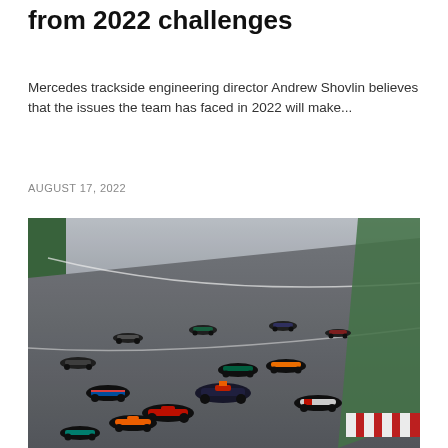from 2022 challenges
Mercedes trackside engineering director Andrew Shovlin believes that the issues the team has faced in 2022 will make...
AUGUST 17, 2022
[Figure (photo): F1 racing cars at the start of a race on a circuit, multiple cars visible including cars with orange, red, and teal liveries, on a grey asphalt track with green grass and red/white kerb visible.]